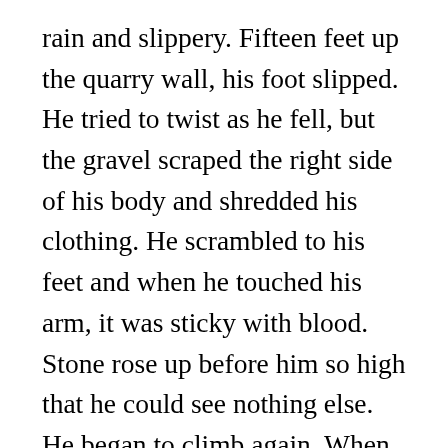rain and slippery. Fifteen feet up the quarry wall, his foot slipped. He tried to twist as he fell, but the gravel scraped the right side of his body and shredded his clothing. He scrambled to his feet and when he touched his arm, it was sticky with blood. Stone rose up before him so high that he could see nothing else. He began to climb again. When he pulled himself over the lip of the basin, his muscles were burning and there was sweat dripping down into his eyes, but he leapt to his feet and broke into a run. He was gasping as he reached the bottom and his clothes were soaked with sweat. Though the night was cold, he peeled them off. He had almost the valley of the came and felt